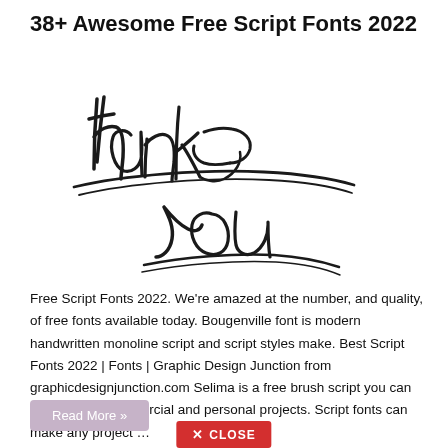38+ Awesome Free Script Fonts 2022
[Figure (illustration): Handwritten calligraphy script rendering of 'thank you' in black brush lettering on white background]
Free Script Fonts 2022. We're amazed at the number, and quality, of free fonts available today. Bougenville font is modern handwritten monoline script and script styles make. Best Script Fonts 2022 | Fonts | Graphic Design Junction from graphicdesignjunction.com Selima is a free brush script you can use for both commercial and personal projects. Script fonts can make any project …
Read More »
✕ CLOSE